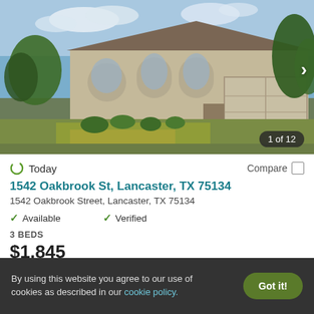[Figure (photo): Exterior photo of a single-story brick house with tan/beige siding, arched windows, attached two-car garage, dry lawn in front, driveway on right, trees and shrubs, blue sky with clouds. Shows '1 of 12' photo counter badge and right arrow navigation.]
Today
Compare
1542 Oakbrook St, Lancaster, TX 75134
1542 Oakbrook Street, Lancaster, TX 75134
Available
Verified
3 BEDS
$1,845
By using this website you agree to our use of cookies as described in our cookie policy.